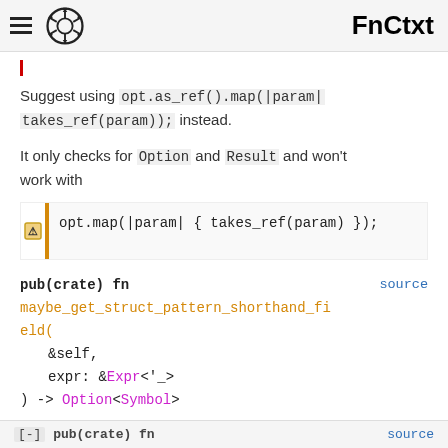FnCtxt
Suggest using opt.as_ref().map(|param| takes_ref(param)); instead.
It only checks for Option and Result and won't work with
[Figure (screenshot): Code block with orange left border showing: opt.map(|param| { takes_ref(param) });]
pub(crate) fn maybe_get_struct_pattern_shorthand_field(
    &self,
    expr: &Expr<'_>
) -> Option<Symbol>
[-] pub(crate) fn    source